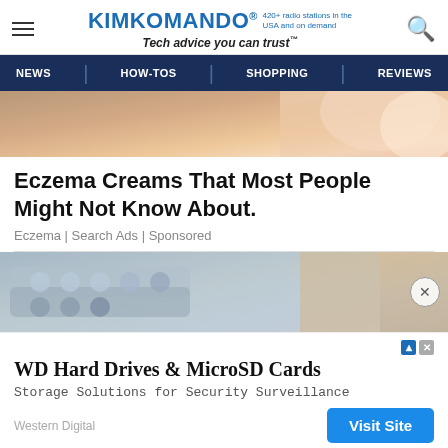KIMKOMANDO® 420+ radio stations in the USA and on demand Tech advice you can trust™
[Figure (screenshot): KimKomando website navigation bar with NEWS, HOW-TOS, SHOPPING, REVIEWS menu items on dark blue background]
[Figure (photo): Close-up photo of skin, likely showing eczema or skin condition, warm beige tones]
Eczema Creams That Most People Might Not Know About.
Eczema | Search Ads | Sponsored
[Figure (photo): Close-up photo of blister pill packs/medication tablets on a wooden surface, blue and silver tones, with a circular close button overlay]
[Figure (screenshot): Advertisement banner for WD Hard Drives & MicroSD Cards - Storage Solutions for Security Surveillance by Western Digital with Visit Site button]